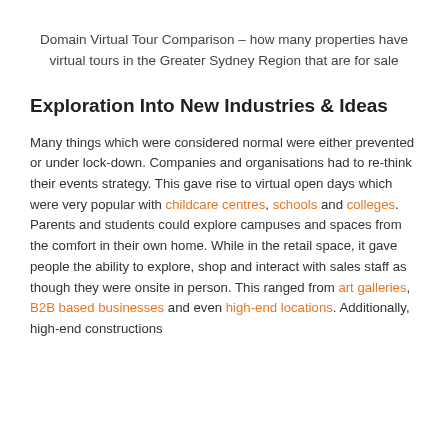Domain Virtual Tour Comparison – how many properties have virtual tours in the Greater Sydney Region that are for sale
Exploration Into New Industries & Ideas
Many things which were considered normal were either prevented or under lock-down. Companies and organisations had to re-think their events strategy. This gave rise to virtual open days which were very popular with childcare centres, schools and colleges. Parents and students could explore campuses and spaces from the comfort in their own home. While in the retail space, it gave people the ability to explore, shop and interact with sales staff as though they were onsite in person. This ranged from art galleries, B2B based businesses and even high-end locations. Additionally, high-end constructions